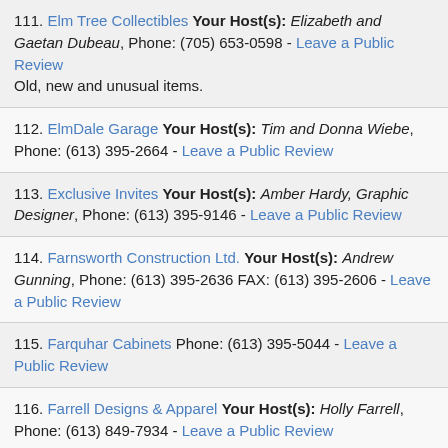111. Elm Tree Collectibles Your Host(s): Elizabeth and Gaetan Dubeau, Phone: (705) 653-0598 - Leave a Public Review
Old, new and unusual items.
112. ElmDale Garage Your Host(s): Tim and Donna Wiebe, Phone: (613) 395-2664 - Leave a Public Review
113. Exclusive Invites Your Host(s): Amber Hardy, Graphic Designer, Phone: (613) 395-9146 - Leave a Public Review
114. Farnsworth Construction Ltd. Your Host(s): Andrew Gunning, Phone: (613) 395-2636 FAX: (613) 395-2606 - Leave a Public Review
115. Farquhar Cabinets Phone: (613) 395-5044 - Leave a Public Review
116. Farrell Designs & Apparel Your Host(s): Holly Farrell, Phone: (613) 849-7934 - Leave a Public Review
117. Fine Line Design Your Host(s): Rosanna Clark, Phone: (613) 395-1717 - Leave a Public Review
118. Firefly Farm Your Host(s): Jennifer and Brian